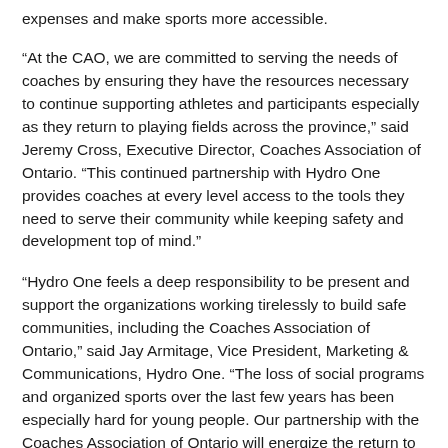expenses and make sports more accessible.
“At the CAO, we are committed to serving the needs of coaches by ensuring they have the resources necessary to continue supporting athletes and participants especially as they return to playing fields across the province,” said Jeremy Cross, Executive Director, Coaches Association of Ontario. “This continued partnership with Hydro One provides coaches at every level access to the tools they need to serve their community while keeping safety and development top of mind.”
“Hydro One feels a deep responsibility to be present and support the organizations working tirelessly to build safe communities, including the Coaches Association of Ontario,” said Jay Armitage, Vice President, Marketing & Communications, Hydro One. “The loss of social programs and organized sports over the last few years has been especially hard for young people. Our partnership with the Coaches Association of Ontario will energize the return to sports, making programming safer and more accessible. We thank coaches for their